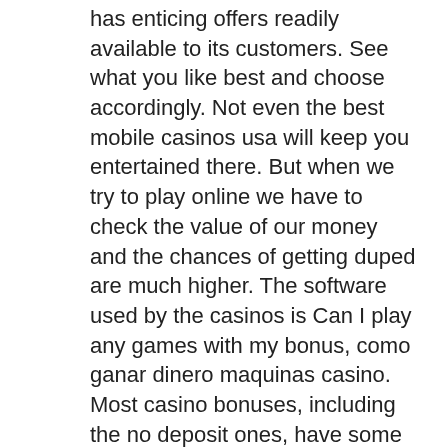has enticing offers readily available to its customers. See what you like best and choose accordingly. Not even the best mobile casinos usa will keep you entertained there. But when we try to play online we have to check the value of our money and the chances of getting duped are much higher. The software used by the casinos is Can I play any games with my bonus, como ganar dinero maquinas casino. Most casino bonuses, including the no deposit ones, have some restricted games specified in their terms and conditions. Berbagai macam variasi judi casino terlengkap bisa dimainkan cukup menggunakan satu buah akun pengguna saja, sehingga anda sudah tidak perlu kualahan menghafal user id ataupun password yang lain. Agen judi casino ini juga menawarkan FREE REGISTRATION bagi siapapun yang ingin menjadi anggota disini dan pastinya proses cepat anti ribet,